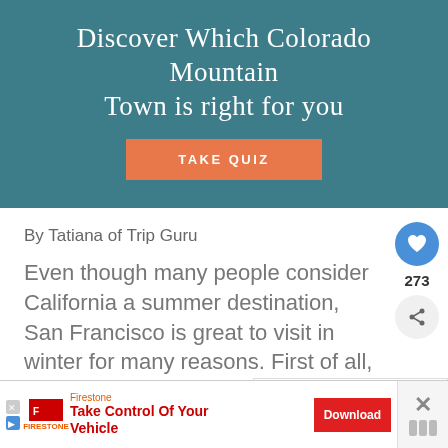Discover Which Colorado Mountain Town is Right For You
TAKE QUIZ
By Tatiana of Trip Guru
Even though many people consider California a summer destination, San Francisco is great to visit in winter for many reasons. First of all, it will be less crowded than in other seasons and accommodations will be cheaper (especially around Christmas).
[Figure (infographic): Social share sidebar with heart button showing 273 likes and a share icon]
[Figure (infographic): What's Next widget showing thumbnail and text: 18 Colorado Winter...]
[Figure (infographic): Advertisement banner: Firestone - Take Control Of Your Vehicle - Download button]